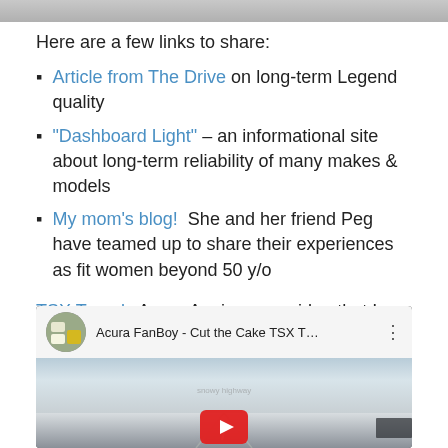[Figure (photo): Partial top image, bottom edge visible — gray/dark image crop]
Here are a few links to share:
Article from The Drive on long-term Legend quality
"Dashboard Light" – an informational site about long-term reliability of many makes & models
My mom's blog!  She and her friend Peg have teamed up to share their experiences as fit women beyond 50 y/o
TSX Travels Acura Anniversary video that I was honored to be a part of:
[Figure (screenshot): YouTube video embed thumbnail: Acura FanBoy - Cut the Cake TSX T... with snowy road scene and play button]